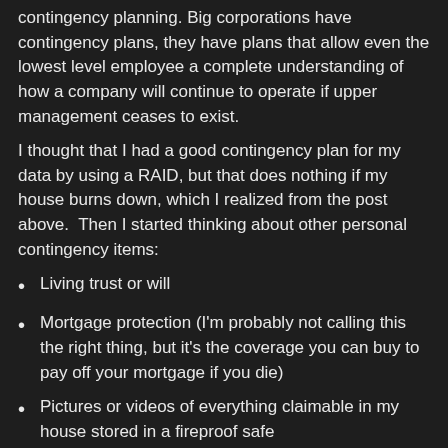contingency planning. Big corporations have contingency plans, they have plans that allow even the lowest level employee a complete understanding of how a company will continue to operate if upper management ceases to exist.
I thought that I had a good contingency plan for my data by using a RAID, but that does nothing if my house burns down, which I realized from the post above. Then I started thinking about other personal contingency items:
Living trust or will
Mortgage protection (I'm probably not calling this the right thing, but it's the coverage you can buy to pay off your mortgage if you die)
Pictures or videos of everything claimable in my house stored in a fireproof safe
Trust funds
Retirement funds
Data security